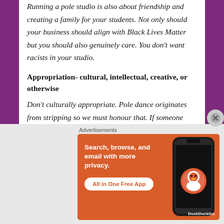Running a pole studio is also about friendship and creating a family for your students. Not only should your business should align with Black Lives Matter but you should also genuinely care. You don't want racists in your studio.
Appropriation- cultural, intellectual, creative, or otherwise
Don't culturally appropriate. Pole dance originates from stripping so we must honour that. If someone shares something with you, be it cultural, intellectual, creative, or other, consider what you can do to honour them in return and always ask for consent and permission first before sharing. Think critically about multiple voices otherwise
[Figure (other): DuckDuckGo advertisement banner: orange background with text 'Search, browse, and email with more privacy. All in One Free App' and a phone mockup with DuckDuckGo logo]